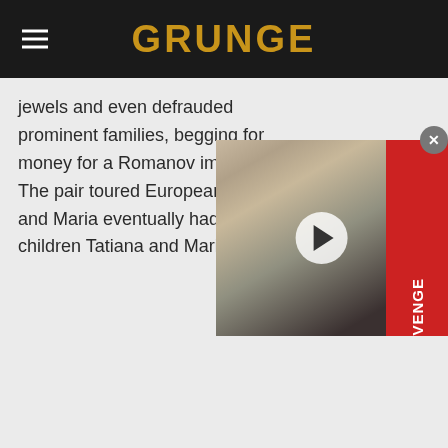GRUNGE
jewels and even defrauded prominent families, begging for money for a Romanov imposter. The pair toured European cities and Maria eventually had two children Tatiana and Maria.
[Figure (photo): Video thumbnail showing a smiling man in a black jacket at what appears to be a movie premiere with a red banner visible on the right side, overlaid with a circular play button.]